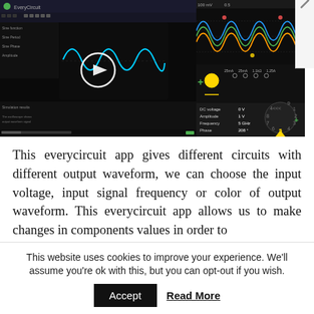[Figure (screenshot): Screenshot of EveryCircuit app showing oscilloscope waveform display with sine waves on dark background, with a play button overlay in the center]
[Figure (screenshot): Screenshot of EveryCircuit app on mobile showing colorful sine waveforms and a circuit with a component property panel showing DC voltage 0V, Amplitude 1V, Frequency 5GHz, Phase 208°]
This everycircuit app gives different circuits with different output waveform, we can choose the input voltage, input signal frequency or color of output waveform. This everycircuit app allows us to make changes in components values in order to
This website uses cookies to improve your experience. We'll assume you're ok with this, but you can opt-out if you wish.